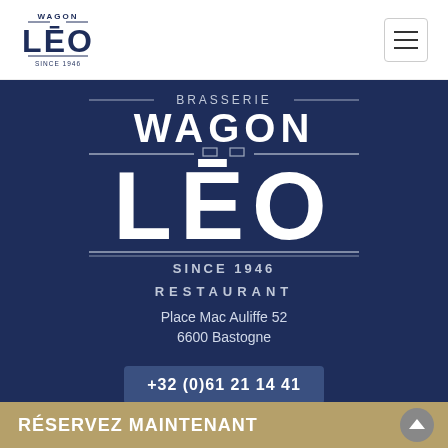[Figure (logo): Wagon Léo restaurant small nav logo, top-left header. Shows WAGON above LEO with 'SINCE 1946' below.]
[Figure (logo): Brasserie Wagon Léo Since 1946 Restaurant large white logo on dark navy background.]
Place Mac Auliffe 52
6600 Bastogne
+32 (0)61 21 14 41
RÉSERVEZ MAINTENANT